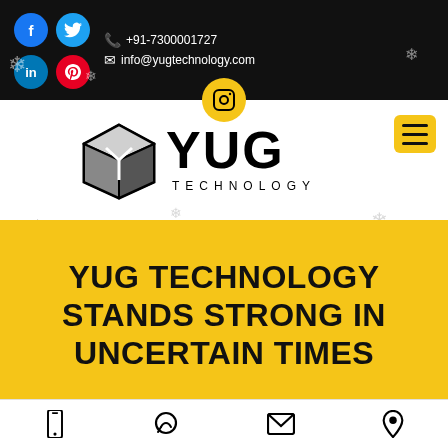f  Twitter  in  Pinterest  +91-7300001727  info@yugtechnology.com
[Figure (logo): YUG TECHNOLOGY logo with cube icon and text YUG TECHNOLOGY]
YUG TECHNOLOGY STANDS STRONG IN UNCERTAIN TIMES
Phone | WhatsApp | Email | Location icons